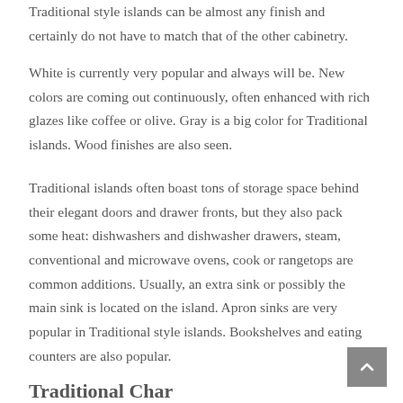Traditional style islands can be almost any finish and certainly do not have to match that of the other cabinetry.
White is currently very popular and always will be. New colors are coming out continuously, often enhanced with rich glazes like coffee or olive. Gray is a big color for Traditional islands. Wood finishes are also seen.
Traditional islands often boast tons of storage space behind their elegant doors and drawer fronts, but they also pack some heat: dishwashers and dishwasher drawers, steam, conventional and microwave ovens, cook or rangetops are common additions. Usually, an extra sink or possibly the main sink is located on the island. Apron sinks are very popular in Traditional style islands. Bookshelves and eating counters are also popular.
Traditional Characteristics